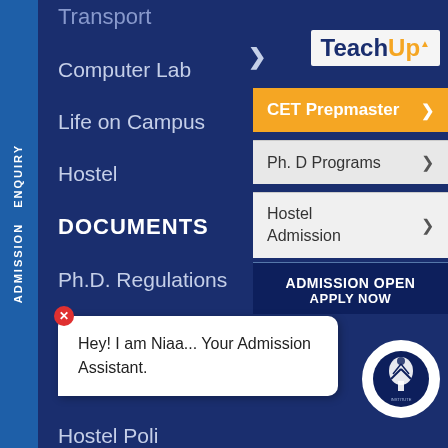Transport
Computer Lab
Life on Campus
Hostel
DOCUMENTS
Ph.D. Regulations
Academic Calendar
Student Handbook
Hostel Policy
Circulars
[Figure (logo): TeachUp logo with orange 'Up' text]
CET Prepmaster
Ph. D Programs
Hostel Admission
ADMISSION OPEN
APPLY NOW
Hey! I am Niaa... Your Admission Assistant.
ADMISSION ENQUIRY